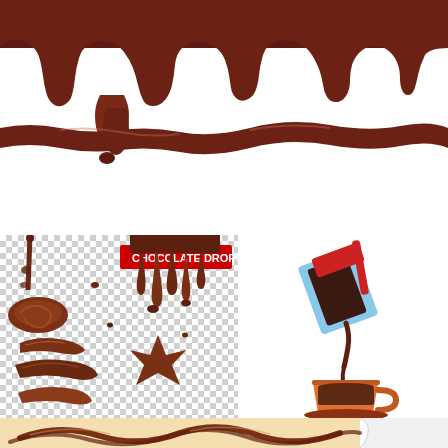[Figure (illustration): Realistic chocolate drip border at top with chocolate dripping downward, and a flowing chocolate stream/wave below it on white background.]
[Figure (illustration): Chocolate drops collection set on checkered transparent background, labeled 'CHOCOLATE DROPS' in red banner. Shows chocolate drips, puddle swirl, spiral smears, and star-shaped chocolate blob.]
[Figure (illustration): Flat style icon of a juice/liquid carton (blue and red) pouring dark liquid into an orange coffee cup on a saucer.]
[Figure (illustration): Bottom strip showing chocolate swirls and liquid streams on a warm beige background with a page curl effect on the right side.]